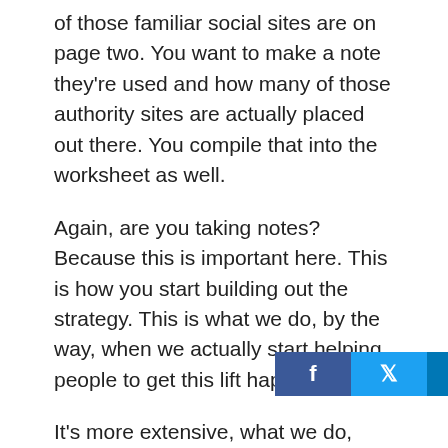of those familiar social sites are on page two. You want to make a note they're used and how many of those authority sites are actually placed out there. You compile that into the worksheet as well.
Again, are you taking notes? Because this is important here. This is how you start building out the strategy. This is what we do, by the way, when we actually start helping people to get this lift happening.
It's more extensive, what we do, because we look at the space even broader than that and we look even deeper for the top first 100, et cetera, but we have tools and proc[social bar]ave to worry about because you can start by doing just this. Some
[Figure (infographic): Social sharing bar with Facebook, Twitter, LinkedIn, and Pinterest icons overlaid on the text]